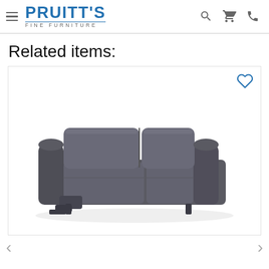PRUITT'S FINE FURNITURE
Related items:
[Figure (photo): Grey fabric reclining sofa shown at an angle, with two seat cushions and two back cushions, recliner mechanism visible on the left side.]